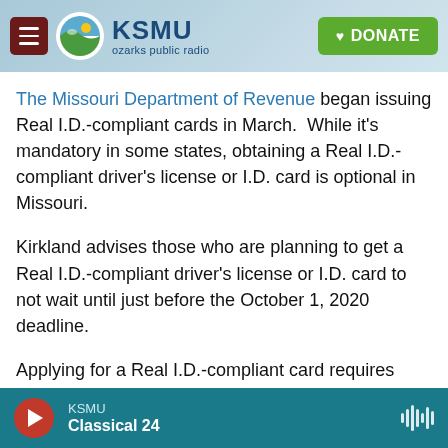[Figure (screenshot): KSMU Ozarks Public Radio website header with hamburger menu, KSMU logo, and green DONATE button]
The Missouri Department of Revenue began issuing Real I.D.-compliant cards in March.  While it's mandatory in some states, obtaining a Real I.D.-compliant driver's license or I.D. card is optional in Missouri.
Kirkland advises those who are planning to get a Real I.D.-compliant driver's license or I.D. card to not wait until just before the October 1, 2020 deadline.
Applying for a Real I.D.-compliant card requires Missourians to show valid, original documents (no
KSMU  Classical 24